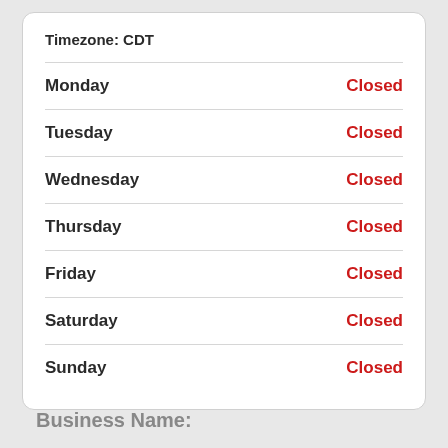| Day | Status |
| --- | --- |
| Monday | Closed |
| Tuesday | Closed |
| Wednesday | Closed |
| Thursday | Closed |
| Friday | Closed |
| Saturday | Closed |
| Sunday | Closed |
Business Name: